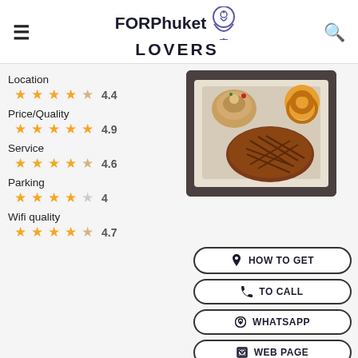FOR Phuket LOVERS
Location 4.4
Price/Quality 4.9
Service 4.6
Parking 4
Wifi quality 4.7
[Figure (photo): Plate of food with grilled steak, onion rings stack, and garnished side dish on a white rectangular plate]
HOW TO GET
TO CALL
WHATSAPP
WEB PAGE
Address: 52 Thawewong Rd, Pa Tong, Amphoe Kathu, Phuket 83150, Thailand